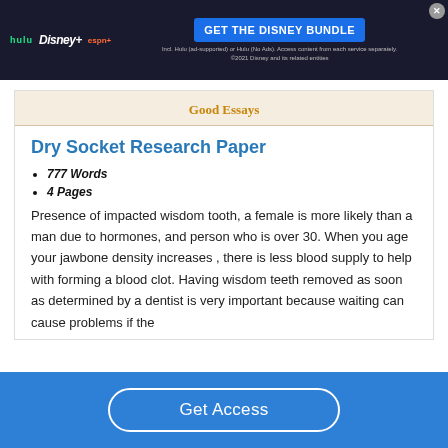[Figure (screenshot): Disney Bundle advertisement banner with Hulu, Disney+, ESPN+ logos and 'GET THE DISNEY BUNDLE' call to action button]
Good Essays
Dry Socket Research Paper
777 Words
4 Pages
Presence of impacted wisdom tooth, a female is more likely than a man due to hormones, and person who is over 30. When you age your jawbone density increases , there is less blood supply to help with forming a blood clot. Having wisdom teeth removed as soon as determined by a dentist is very important because waiting can cause problems if the
Get Access